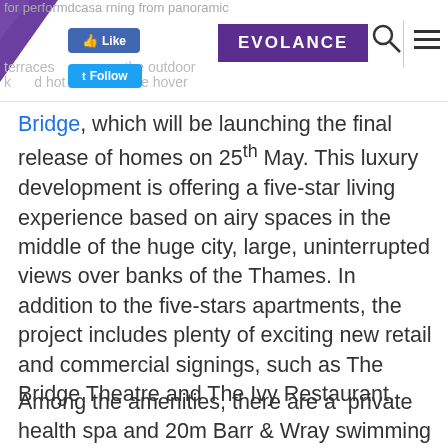EVOLANCE
Bridge, which will be launching the final release of homes on 25th May. This luxury development is offering a five-star living experience based on airy spaces in the middle of the huge city, large, uninterrupted views over banks of the Thames. In addition to the five-stars apartments, the project includes plenty of exciting new retail and commercial signings, such as The Bridge Theatre and The Ivy Restaurant.
Among the amenities, there are a  private health spa and 20m Barr & Wray swimming